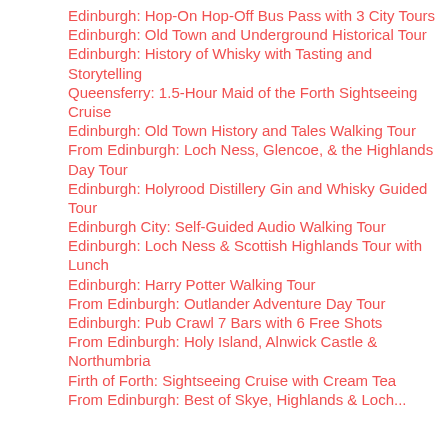Edinburgh: Hop-On Hop-Off Bus Pass with 3 City Tours
Edinburgh: Old Town and Underground Historical Tour
Edinburgh: History of Whisky with Tasting and Storytelling
Queensferry: 1.5-Hour Maid of the Forth Sightseeing Cruise
Edinburgh: Old Town History and Tales Walking Tour
From Edinburgh: Loch Ness, Glencoe, & the Highlands Day Tour
Edinburgh: Holyrood Distillery Gin and Whisky Guided Tour
Edinburgh City: Self-Guided Audio Walking Tour
Edinburgh: Loch Ness & Scottish Highlands Tour with Lunch
Edinburgh: Harry Potter Walking Tour
From Edinburgh: Outlander Adventure Day Tour
Edinburgh: Pub Crawl 7 Bars with 6 Free Shots
From Edinburgh: Holy Island, Alnwick Castle & Northumbria
Firth of Forth: Sightseeing Cruise with Cream Tea
From Edinburgh: Best of Skye, Highlands & Loch...